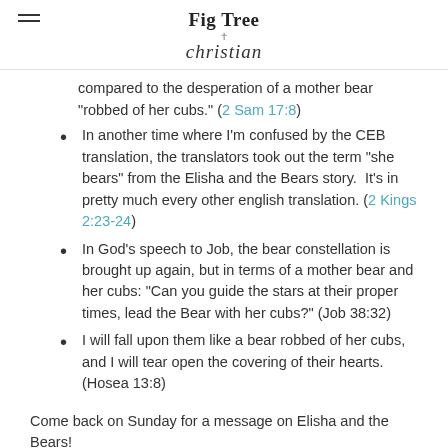Fig Tree Christian
compared to the desperation of a mother bear "robbed of her cubs." (2 Sam 17:8)
In another time where I'm confused by the CEB translation, the translators took out the term "she bears" from the Elisha and the Bears story. It's in pretty much every other english translation. (2 Kings 2:23-24)
In God's speech to Job, the bear constellation is brought up again, but in terms of a mother bear and her cubs: "Can you guide the stars at their proper times, lead the Bear with her cubs?" (Job 38:32)
I will fall upon them like a bear robbed of her cubs, and I will tear open the covering of their hearts. (Hosea 13:8)
Come back on Sunday for a message on Elisha and the Bears!